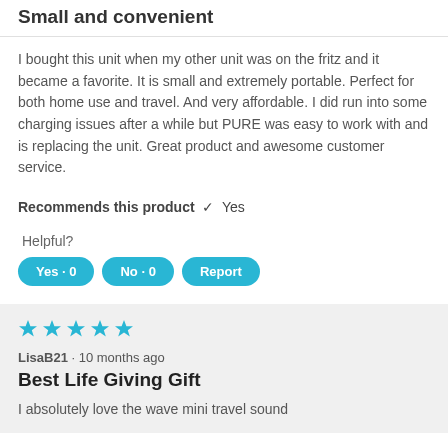Small and convenient
I bought this unit when my other unit was on the fritz and it became a favorite. It is small and extremely portable. Perfect for both home use and travel. And very affordable. I did run into some charging issues after a while but PURE was easy to work with and is replacing the unit. Great product and awesome customer service.
Recommends this product ✔ Yes
Helpful?
Yes · 0   No · 0   Report
[Figure (other): Five filled blue stars rating]
LisaB21 · 10 months ago
Best Life Giving Gift
I absolutely love the wave mini travel sound